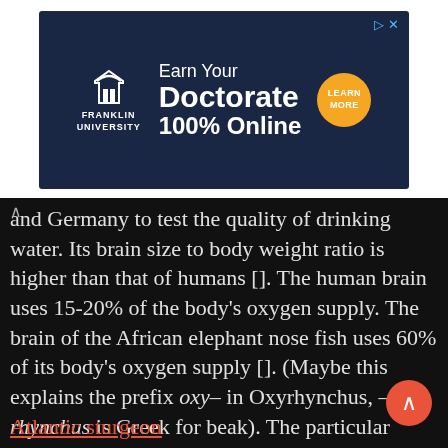[Figure (screenshot): Advertisement banner for Franklin University: 'Earn Your Doctorate 100% Online' with Learn More button]
and Germany to test the quality of drinking water. Its brain size to body weight ratio is higher than that of humans []. The human brain uses 15-20% of the body's oxygen supply. The brain of the African elephant nose fish uses 60% of its body's oxygen supply []. (Maybe this explains the prefix oxy– in Oxyrhynchus, –rhynchus is Greek for beak). The particular sturgeon species called the Acipenser oxyrhynchusoxyrinchus is t
Atlantic sturgeon